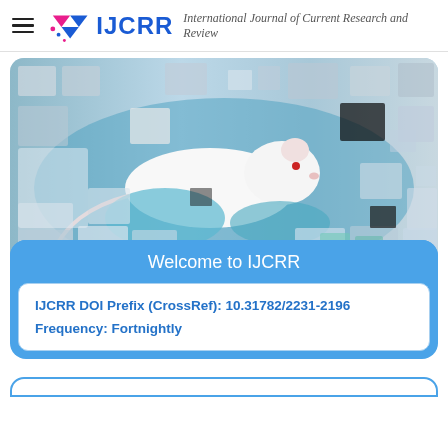IJCRR — International Journal of Current Research and Review
[Figure (photo): A white laboratory mouse being held in a gloved hand, with a decorative collage of small squares overlaid on the image, referencing various scientific/medical topics.]
Welcome to IJCRR
IJCRR DOI Prefix (CrossRef): 10.31782/2231-2196
Frequency: Fortnightly